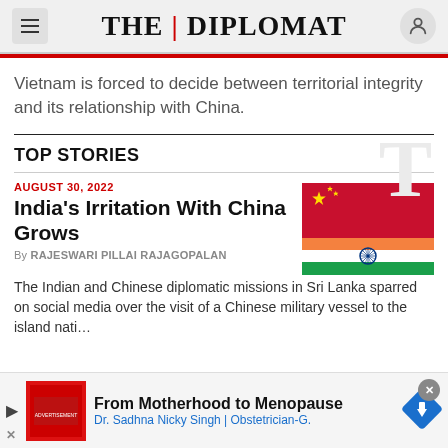THE DIPLOMAT
Vietnam is forced to decide between territorial integrity and its relationship with China.
TOP STORIES
AUGUST 30, 2022
India's Irritation With China Grows
By RAJESWARI PILLAI RAJAGOPALAN
[Figure (photo): Overlapping Chinese and Indian flags]
The Indian and Chinese diplomatic missions in Sri Lanka sparred on social media over the visit of a Chinese military vessel to the island nation
[Figure (other): Advertisement banner: From Motherhood to Menopause — Dr. Sadhna Nicky Singh | Obstetrician-G.]